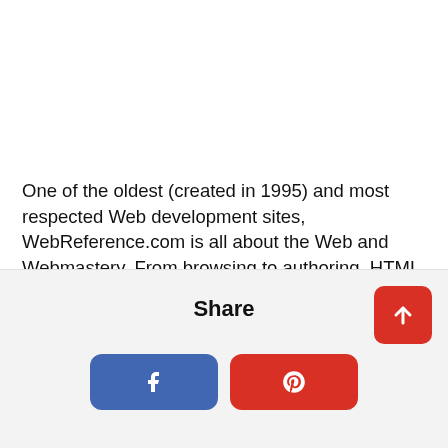One of the oldest (created in 1995) and most respected Web development sites, WebReference.com is all about the Web and Webmastery. From browsing to authoring, HTML to advanced site design, we'll keep you informed.
Share
[Figure (other): Share section with Facebook and Pinterest social sharing buttons, and a red scroll-to-top button with upward arrow]